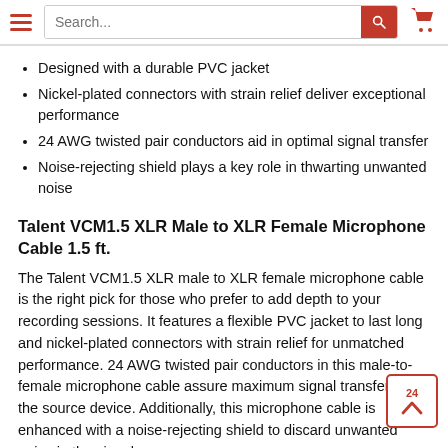Navigation bar with hamburger menu, search box, and shopping cart
Designed with a durable PVC jacket
Nickel-plated connectors with strain relief deliver exceptional performance
24 AWG twisted pair conductors aid in optimal signal transfer
Noise-rejecting shield plays a key role in thwarting unwanted noise
Talent VCM1.5 XLR Male to XLR Female Microphone Cable 1.5 ft.
The Talent VCM1.5 XLR male to XLR female microphone cable is the right pick for those who prefer to add depth to your recording sessions. It features a flexible PVC jacket to last long and nickel-plated connectors with strain relief for unmatched performance. 24 AWG twisted pair conductors in this male-to-female microphone cable assure maximum signal transfer from the source device. Additionally, this microphone cable is enhanced with a noise-rejecting shield to discard unwanted noise in the signal.